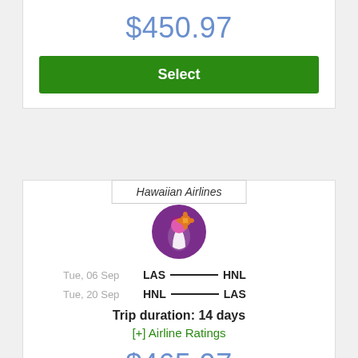$450.97
Select
Hawaiian Airlines
[Figure (logo): Hawaiian Airlines circular logo with a woman's profile in purple and pink with an orange flower]
Tue, 06 Sep   LAS ——— HNL
Tue, 20 Sep   HNL ——— LAS
Trip duration: 14 days
[+] Airline Ratings
$465.97
Select